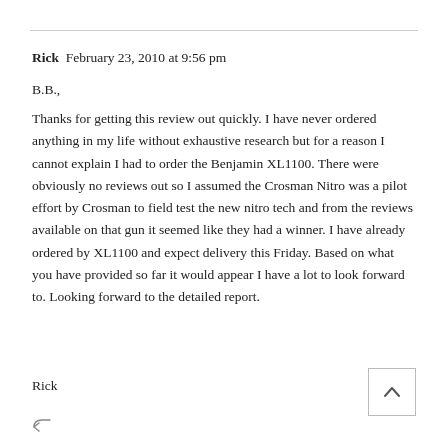Rick  February 23, 2010 at 9:56 pm
B.B.,
Thanks for getting this review out quickly. I have never ordered anything in my life without exhaustive research but for a reason I cannot explain I had to order the Benjamin XL1100. There were obviously no reviews out so I assumed the Crosman Nitro was a pilot effort by Crosman to field test the new nitro tech and from the reviews available on that gun it seemed like they had a winner. I have already ordered by XL1100 and expect delivery this Friday. Based on what you have provided so far it would appear I have a lot to look forward to. Looking forward to the detailed report.
Rick